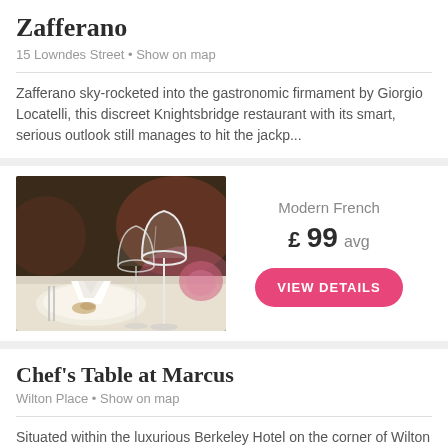Zafferano
15 Lowndes Street • Show on map
Zafferano sky-rocketed into the gastronomic firmament by Giorgio Locatelli, this discreet Knightsbridge restaurant with its smart, serious outlook still manages to hit the jackp...
[Figure (photo): Restaurant table setting with white napkin folded and two wine glasses in foreground, blurred background]
Modern French
£ 99 avg
VIEW DETAILS
Chef's Table at Marcus
Wilton Place • Show on map
Situated within the luxurious Berkeley Hotel on the corner of Wilton Place and Knightsbridge, the Chef's Table is housed within the two Michelin-starred Marcus Wareing restauran...